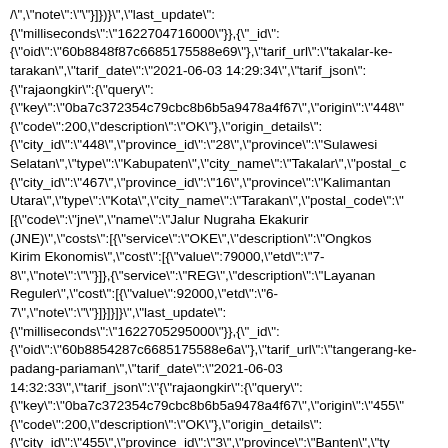/","note":""}]})}","last_update": {"milliseconds":"1622704716000"}},{"_id": {"oid":"60b8848f87c6685175588e69"},"tarif_url":"takalar-ke-tarakan","tarif_date":"2021-06-03 14:29:34","tarif_json": {"rajaongkir":{"query": {"key":"0ba7c372354c79cbc8b6b5a9478a4f67","origin":"448" {"code":200,"description":"OK"},"origin_details": {"city_id":"448","province_id":"28","province":"Sulawesi Selatan","type":"Kabupaten","city_name":"Takalar","postal_c {"city_id":"467","province_id":"16","province":"Kalimantan Utara","type":"Kota","city_name":"Tarakan","postal_code":" [{"code":"jne","name":"Jalur Nugraha Ekakurir (JNE)","costs":[{"service":"OKE","description":"Ongkos Kirim Ekonomis","cost":[{"value":79000,"etd":"7-8","note":""}]},{"service":"REG","description":"Layanan Reguler","cost":[{"value":92000,"etd":"6-7","note":""}]}]}]}","last_update": {"milliseconds":"1622705295000"}},{"_id": {"oid":"60b8854287c6685175588e6a"},"tarif_url":"tangerang-ke-padang-pariaman","tarif_date":"2021-06-03 14:32:33","tarif_json":"{"rajaongkir":{"query": {"key":"0ba7c372354c79cbc8b6b5a9478a4f67","origin":"455" {"code":200,"description":"OK"},"origin_details": {"city_id":"455","province_id":"3","province":"Banten","ty {"city_id":"322","province_id":"32","province":"Sumatera